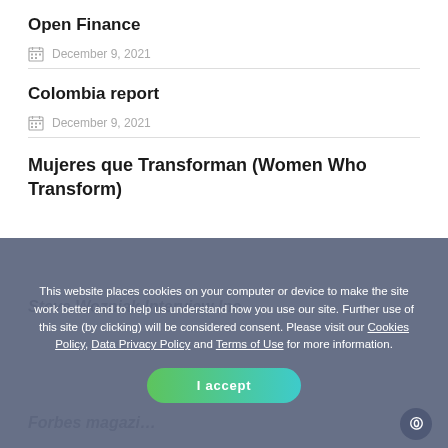Open Finance
December 9, 2021
Colombia report
December 9, 2021
Mujeres que Transforman (Women Who Transform)
December 9, 2021
Steve Wozniak Interview Inc.
Forbes magazi…
This website places cookies on your computer or device to make the site work better and to help us understand how you use our site. Further use of this site (by clicking) will be considered consent. Please visit our Cookies Policy, Data Privacy Policy and Terms of Use for more information.
I accept